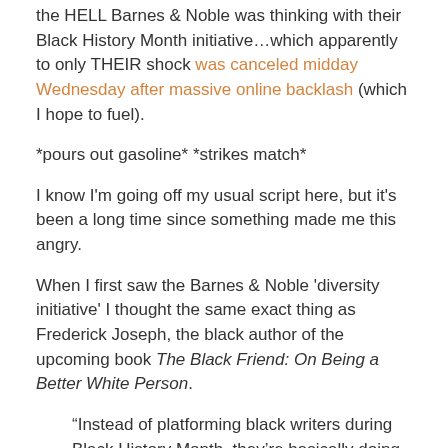the HELL Barnes & Noble was thinking with their Black History Month initiative…which apparently to only THEIR shock was canceled midday Wednesday after massive online backlash (which I hope to fuel).
*pours out gasoline* *strikes match*
I know I'm going off my usual script here, but it's been a long time since something made me this angry.
When I first saw the Barnes & Noble 'diversity initiative' I thought the same exact thing as Frederick Joseph, the black author of the upcoming book The Black Friend: On Being a Better White Person.
“Instead of platforming black writers during Black History Month, they’re basically doing blackface. They’re using our imagery, our likeness, to still sell white narratives.”